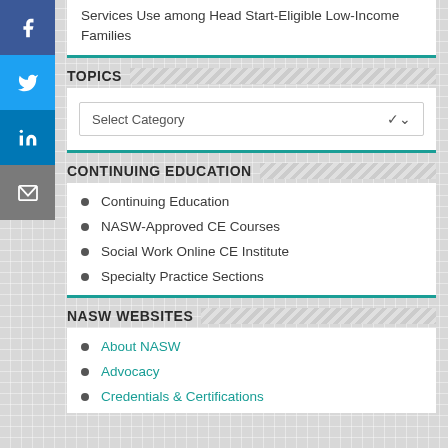Services Use among Head Start-Eligible Low-Income Families
TOPICS
Select Category
CONTINUING EDUCATION
Continuing Education
NASW-Approved CE Courses
Social Work Online CE Institute
Specialty Practice Sections
NASW WEBSITES
About NASW
Advocacy
Credentials & Certifications